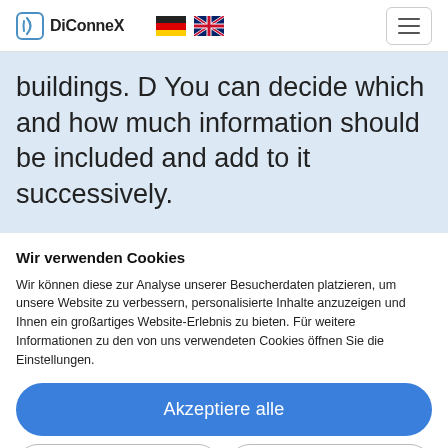DiConneX
buildings. D You can decide which and how much information should be included and add to it successively.
Wir verwenden Cookies
Wir können diese zur Analyse unserer Besucherdaten platzieren, um unsere Website zu verbessern, personalisierte Inhalte anzuzeigen und Ihnen ein großartiges Website-Erlebnis zu bieten. Für weitere Informationen zu den von uns verwendeten Cookies öffnen Sie die Einstellungen.
Akzeptiere alle
Ablehnen
Nein, passen Sie an